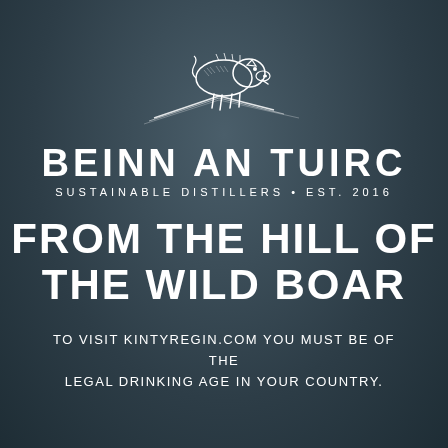[Figure (logo): Beinn an Tuirc distillery logo — a white line-drawing of a wild boar standing on a hillside silhouette]
BEINN AN TUIRC
SUSTAINABLE DISTILLERS • EST. 2016
FROM THE HILL OF THE WILD BOAR
TO VISIT KINTYREGIN.COM YOU MUST BE OF THE LEGAL DRINKING AGE IN YOUR COUNTRY.